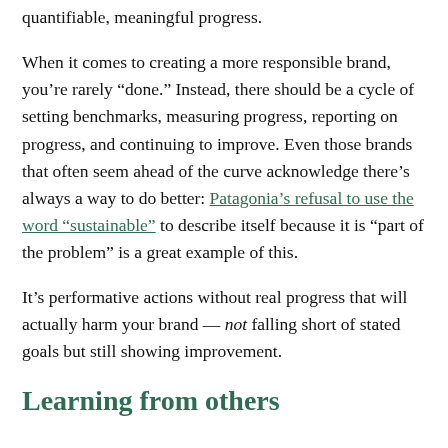quantifiable, meaningful progress.
When it comes to creating a more responsible brand, you’re rarely “done.” Instead, there should be a cycle of setting benchmarks, measuring progress, reporting on progress, and continuing to improve. Even those brands that often seem ahead of the curve acknowledge there’s always a way to do better: Patagonia’s refusal to use the word “sustainable” to describe itself because it is “part of the problem” is a great example of this.
It’s performative actions without real progress that will actually harm your brand — not falling short of stated goals but still showing improvement.
Learning from others